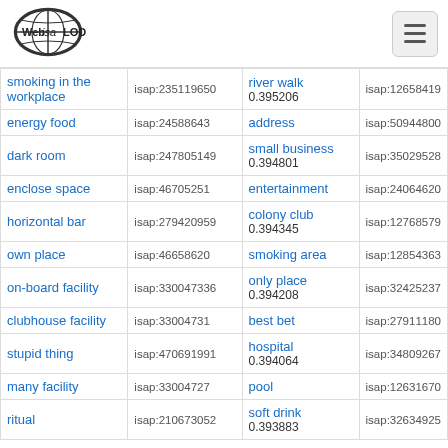[Figure (logo): Web isa LOD logo with globe graphic]
| term | isap id | match / score | isap id 2 |
| --- | --- | --- | --- |
| smoking in the workplace | isap:235119650 | river walk
0.395206 | isap:12658419 |
| energy food | isap:24588643 | address | isap:50944800 |
| dark room | isap:247805149 | small business
0.394801 | isap:35029528 |
| enclose space | isap:46705251 | entertainment | isap:24064620 |
| horizontal bar | isap:279420959 | colony club
0.394345 | isap:12768579 |
| own place | isap:46658620 | smoking area | isap:12854363 |
| on-board facility | isap:330047336 | only place
0.394208 | isap:32425237 |
| clubhouse facility | isap:33004731 | best bet | isap:27911180 |
| stupid thing | isap:470691991 | hospital
0.394064 | isap:34809267 |
| many facility | isap:33004727 | pool | isap:12631670 |
| ritual | isap:210673052 | soft drink
0.393883 | isap:32634925 |